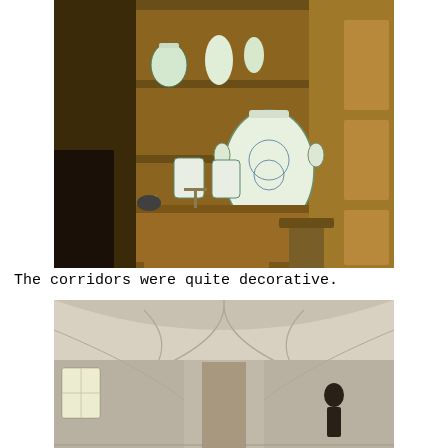[Figure (photo): Interior room with wooden shelving unit displaying decorative ceramic/pottery jars and vases with blue-and-white designs, a wooden counter/desk in the foreground with metal scales and a mortar, and wooden paneled doors in the background.]
The corridors were quite decorative.
[Figure (photo): Stone vaulted corridor or hallway with arched ceiling, white stone walls and ceiling panels, windows on the left side letting in light, and a distant figure visible at the far end of the passage.]